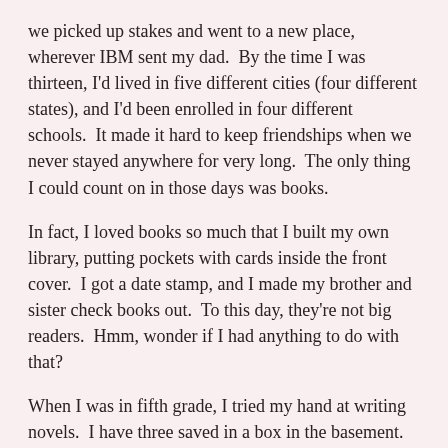we picked up stakes and went to a new place, wherever IBM sent my dad.  By the time I was thirteen, I'd lived in five different cities (four different states), and I'd been enrolled in four different schools.  It made it hard to keep friendships when we never stayed anywhere for very long.  The only thing I could count on in those days was books.
In fact, I loved books so much that I built my own library, putting pockets with cards inside the front cover.  I got a date stamp, and I made my brother and sister check books out.  To this day, they're not big readers.  Hmm, wonder if I had anything to do with that?
When I was in fifth grade, I tried my hand at writing novels.  I have three saved in a box in the basement.  One is about two pals and a dog who solve crimes, another is an illustrated tale about a pair of nice monsters, and the third is a mystery called THE SECRET OF THE FORBIDDEN TEMPLE.  I even made a fancy cover for that one.  Inside the back flap, I listed “Other Books by Susan McBride” and made up a bunch of titles.
I should have realized back then that I was destined to write.  But it took awhile longer for me to figure that out.  I didn’t seriously